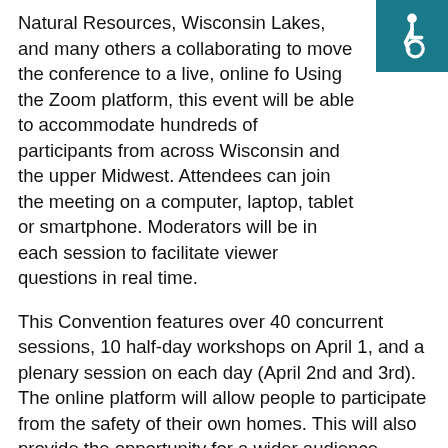Natural Resources, Wisconsin Lakes, and many others are collaborating to move the conference to a live, online format. Using the Zoom platform, this event will be able to accommodate hundreds of participants from across Wisconsin and the upper Midwest. Attendees can join the meeting on a computer, laptop, tablet or smartphone. Moderators will be in each session to facilitate viewer questions in real time.
This Convention features over 40 concurrent sessions, 10 half-day workshops on April 1, and a plenary session on each day (April 2nd and 3rd). The online platform will allow people to participate from the safety of their own homes. This will also provide the opportunity for a wider audience, including students, educators, and the general public, to join us and learn from experts in the water industry.
To most accurately plan for the number of people planning to join the meeting, there is a registration process with a nominal fee. Each half-day workshop will cost $5 and the
[Figure (illustration): Accessibility icon (wheelchair symbol) on teal/dark cyan background, positioned in top-right corner]